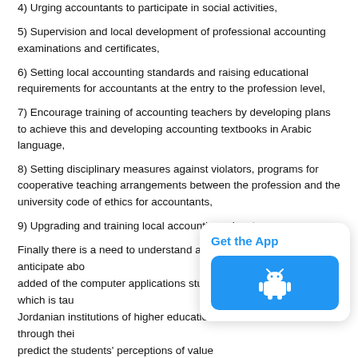4) Urging accountants to participate in social activities,
5) Supervision and local development of professional accounting examinations and certificates,
6) Setting local accounting standards and raising educational requirements for accountants at the entry to the profession level,
7) Encourage training of accounting teachers by developing plans to achieve this and developing accounting textbooks in Arabic language,
8) Setting disciplinary measures against violators, programs for cooperative teaching arrangements between the profession and the university code of ethics for accountants,
9) Upgrading and training local accounting educators.
Finally there is a need to understand and anticipate abo... added of the computer applications study which is tau... Jordanian institutions of higher education through thei... predict the students' perceptions of value added that m... previous experience in using them, as well as enhancing ... learning experience (Al-Khadash & Al-Beshtawi, 2010). We can say that the least effective strategy was the development of accounting